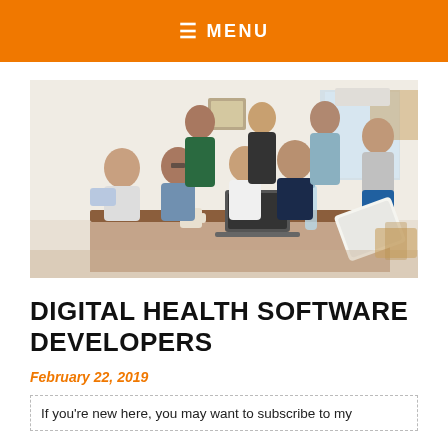≡ MENU
[Figure (photo): Group of young people gathered around a table with laptops, working together in a bright room.]
DIGITAL HEALTH SOFTWARE DEVELOPERS
February 22, 2019
If you're new here, you may want to subscribe to my